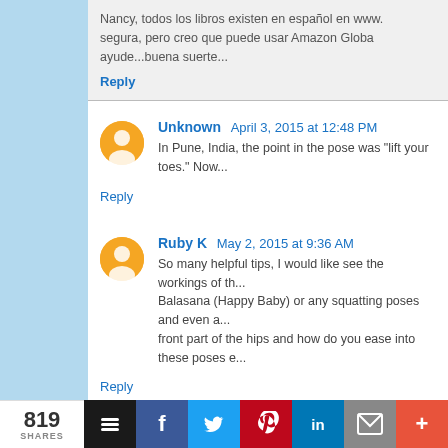Nancy, todos los libros existen en español en www... segura, pero creo que puede usar Amazon Globa... ayude...buena suerte...
Reply
Unknown  April 3, 2015 at 12:48 PM
In Pune, India, the point in the pose was "lift your toes." Now...
Reply
Ruby K  May 2, 2015 at 9:36 AM
So many helpful tips, I would like see the workings of th... Balasana (Happy Baby) or any squatting poses and even a... front part of the hips and how do you ease into these poses e...
Reply
CedricsMom  February 27, 2018 at 1:24 PM
819 SHARES